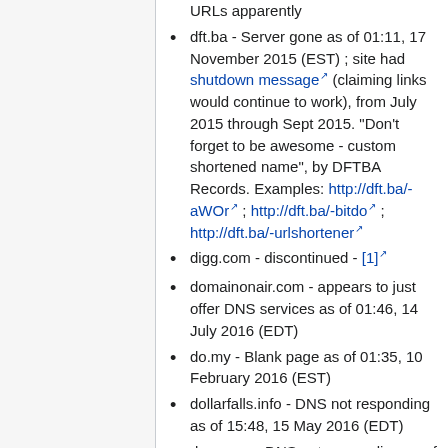URLs apparently
dft.ba - Server gone as of 01:11, 17 November 2015 (EST) ; site had shutdown message (claiming links would continue to work), from July 2015 through Sept 2015. "Don't forget to be awesome - custom shortened name", by DFTBA Records. Examples: http://dft.ba/-aWOr ; http://dft.ba/-bitdo ; http://dft.ba/-urlshortener
digg.com - discontinued - [1]
domainonair.com - appears to just offer DNS services as of 01:46, 14 July 2016 (EDT)
do.my - Blank page as of 01:35, 10 February 2016 (EST)
dollarfalls.info - DNS not responding as of 15:48, 15 May 2016 (EDT)
danon.us - DNS not responding as of